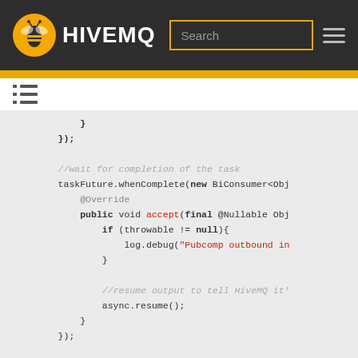HiveMQ
[Figure (screenshot): HiveMQ website header with logo, search box, and hamburger menu on dark background with gold accent bar]
[Figure (screenshot): Table of contents icon]
Java code snippet showing taskFuture.whenComplete with BiConsumer, @Override, public void accept(final @Nullable Obj..., if (throwable != null){ log.debug("Pubcomp outbound in..."), }, //resume output to tell HiveMQ it'..., async.resume();, }, });